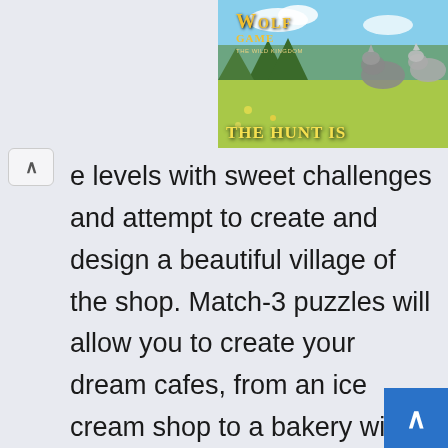[Figure (screenshot): Wolf Game: The Wild Kingdom advertisement banner showing wolves in a meadow with text 'THE HUNT IS']
e levels with sweet challenges and attempt to create and design a beautiful village of the shop. Match-3 puzzles will allow you to create your dream cafes, from an ice cream shop to a bakery with pastries. At the start, you should design and build each shop to cook and offer a wide range of mouth-watered indulgences to your buddies and customers. During the journey, lots of cute animals will join you on your bakery adventure and assist you in completing a set of challenging levels. While playing the gam you can partake in several fun-filled levels, and each